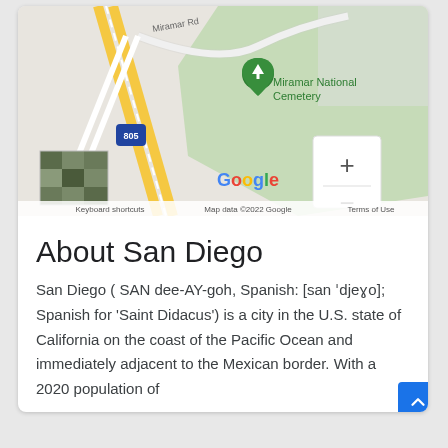[Figure (map): Google Maps screenshot showing Miramar National Cemetery area in San Diego, with Interstate 805, Miramar Rd, a green cemetery area, Google logo, zoom controls, satellite thumbnail, and map attribution: 'Keyboard shortcuts  Map data ©2022 Google  Terms of Use']
About San Diego
San Diego ( SAN dee-AY-goh, Spanish: [san ˈdjeɣo]; Spanish for 'Saint Didacus') is a city in the U.S. state of California on the coast of the Pacific Ocean and immediately adjacent to the Mexican border. With a 2020 population of